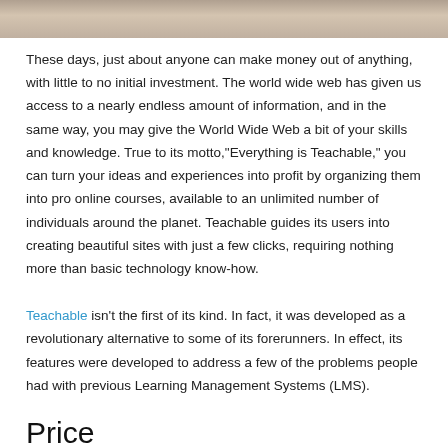[Figure (photo): Partial photo bar at top of page, showing a cropped image of people or background scene]
These days, just about anyone can make money out of anything, with little to no initial investment. The world wide web has given us access to a nearly endless amount of information, and in the same way, you may give the World Wide Web a bit of your skills and knowledge. True to its motto,"Everything is Teachable," you can turn your ideas and experiences into profit by organizing them into pro online courses, available to an unlimited number of individuals around the planet. Teachable guides its users into creating beautiful sites with just a few clicks, requiring nothing more than basic technology know-how.
Teachable isn't the first of its kind. In fact, it was developed as a revolutionary alternative to some of its forerunners. In effect, its features were developed to address a few of the problems people had with previous Learning Management Systems (LMS).
Price